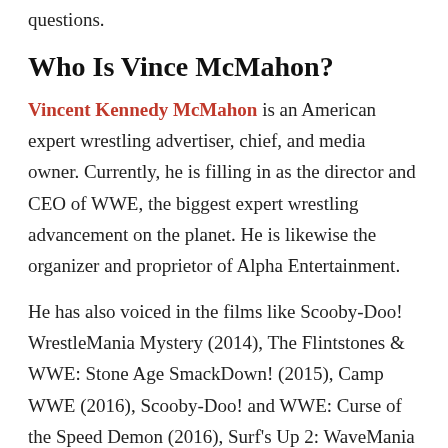questions.
Who Is Vince McMahon?
Vincent Kennedy McMahon is an American expert wrestling advertiser, chief, and media owner. Currently, he is filling in as the director and CEO of WWE, the biggest expert wrestling advancement on the planet. He is likewise the organizer and proprietor of Alpha Entertainment.
He has also voiced in the films like Scooby-Doo! WrestleMania Mystery (2014), The Flintstones & WWE: Stone Age SmackDown! (2015), Camp WWE (2016), Scooby-Doo! and WWE: Curse of the Speed Demon (2016), Surf's Up 2: WaveMania (2017), The Jetsons & WWE: Robo-WrestleMania (2017)